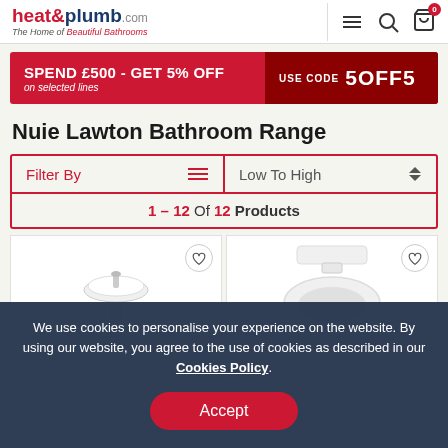heat&plumb.com – The Home of Beautiful Bathrooms
[Figure (screenshot): Promotional banner: SPEND £500 - GET 5% OFF on selected lines, USE CODE 5OFF5]
Nuie Lawton Bathroom Range
Filter By | Low To High
1 – 12 Of 12 Products
[Figure (photo): White pedestal basin/sink product image]
[Figure (photo): White toilet seat product image]
We use cookies to personalise your experience on the website. By using our website, you agree to the use of cookies as described in our Cookies Policy.
Accept